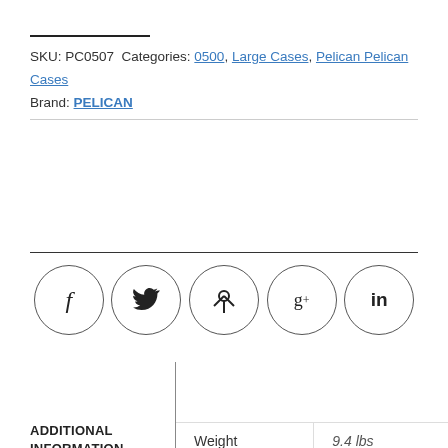SKU: PC0507 Categories: 0500, Large Cases, Pelican Pelican Cases Brand: PELICAN
[Figure (infographic): Row of five social media share icons in circular borders: Facebook (f), Twitter (bird), Pinterest (p), Google+ (g+), LinkedIn (in)]
| Weight |  |
| --- | --- |
| Weight | 9.4 lbs |
ADDITIONAL INFORMATION